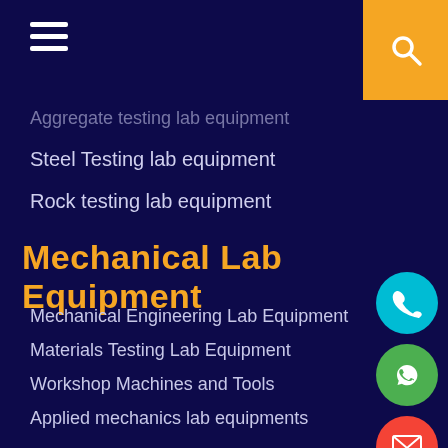Navigation menu header with hamburger icon and search button
Aggregate testing lab equipment
Steel Testing lab equipment
Rock testing lab equipment
Mechanical Lab Equipment
Mechanical Engineering Lab Equipment
Materials Testing Lab Equipment
Workshop Machines and Tools
Applied mechanics lab equipments
Tourbo Machinery Lab Equipment
Fluid Mechanics Lab Equipment
Thermal Engineering lab Equipment